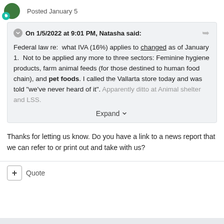Posted January 5
On 1/5/2022 at 9:01 PM, Natasha said:
Federal law re:  what IVA (16%) applies to changed as of January 1.  Not to be applied any more to three sectors: Feminine hygiene products, farm animal feeds (for those destined to human food chain), and pet foods. I called the Vallarta store today and was told "we've never heard of it". Apparently ditto at Animal shelter and LSS.
Expand
Thanks for letting us know. Do you have a link to a news report that we can refer to or print out and take with us?
Quote